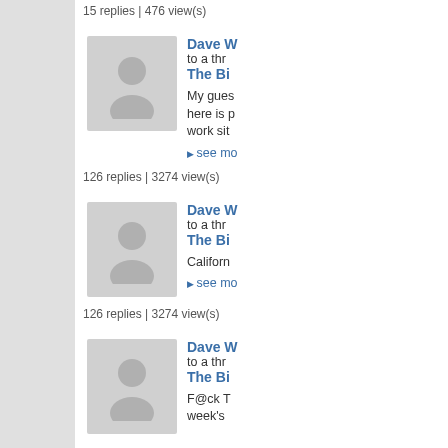15 replies | 476 view(s)
[Figure (photo): Generic user avatar placeholder - grey silhouette]
Dave W
to a thr
The Bi

My gues
here is p
work sit

▶ see mo
126 replies | 3274 view(s)
[Figure (photo): Generic user avatar placeholder - grey silhouette]
Dave W
to a thr
The Bi

Californ

▶ see mo
126 replies | 3274 view(s)
[Figure (photo): Generic user avatar placeholder - grey silhouette]
Dave W
to a thr
The Bi

F@ck T
week's